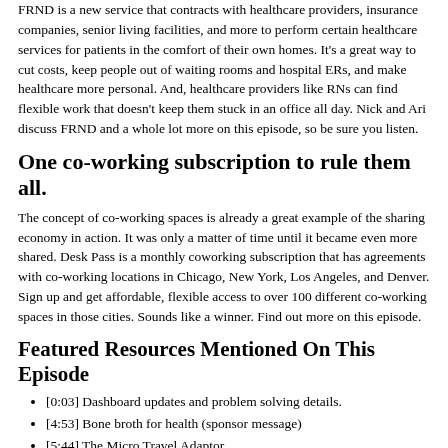FRND is a new service that contracts with healthcare providers, insurance companies, senior living facilities, and more to perform certain healthcare services for patients in the comfort of their own homes. It's a great way to cut costs, keep people out of waiting rooms and hospital ERs, and make healthcare more personal. And, healthcare providers like RNs can find flexible work that doesn't keep them stuck in an office all day. Nick and Ari discuss FRND and a whole lot more on this episode, so be sure you listen.
One co-working subscription to rule them all.
The concept of co-working spaces is already a great example of the sharing economy in action. It was only a matter of time until it became even more shared. Desk Pass is a monthly coworking subscription that has agreements with co-working locations in Chicago, New York, Los Angeles, and Denver. Sign up and get affordable, flexible access to over 100 different co-working spaces in those cities. Sounds like a winner. Find out more on this episode.
Featured Resources Mentioned On This Episode
[0:03] Dashboard updates and problem solving details.
[4:53] Bone broth for health (sponsor message)
[5:44] The Micro Travel Adaptor
[6:19] Elf Emmit device for electrical stimulation
[7:10] Purity Coffee and Laird's Coffee
[7:30] http://GetBetter.co – get back money you are owed